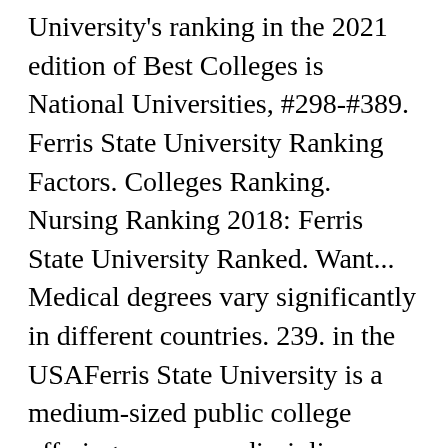University's ranking in the 2021 edition of Best Colleges is National Universities, #298-#389. Ferris State University Ranking Factors. Colleges Ranking. Nursing Ranking 2018: Ferris State University Ranked. Want... Medical degrees vary significantly in different countries. 239. in the USAFerris State University is a medium-sized public college offering numerous disciplines including engineering majors and located in Big Rapids, Michigan. Ferris State University is a public university located in Big Rapids, Michigan. View Ferris State University rankings for 2021 and see where it ranks among top colleges in the U.S. More than 180 programs, ranging from associate to doctoral degrees, are offered